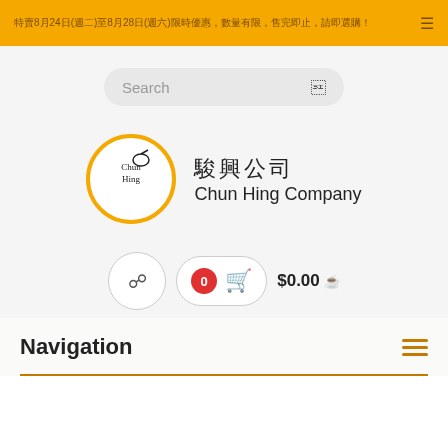特賣8月24日(週二)至8月28日(週六)限時優惠，數量有限，售完即止，請即選購！
[Figure (logo): Chun Hing Company logo with golden circle border and company name in Chinese and English]
Navigation